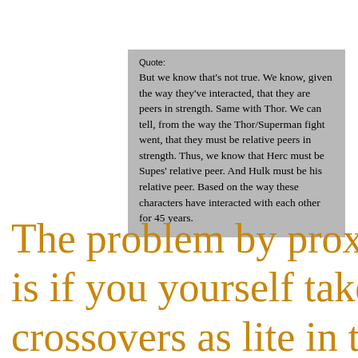Quote:
But we know that's not true. We know, given the way they've interacted, that they are peers in strength. Same with Thor. We can tell, from the way the Thor/Superman fight went, that they must be relative peers in strength. Thus, we know that Herc must be Supes' relative peer. And Hulk must be his relative peer. Based on the way these characters have interacted with each other for 45 years.
The problem by proxy is if you yourself take crossovers as lite in the way you're doing you still have to accept that Superman logically would crush the Hulk/Namor/Gladiator etc as